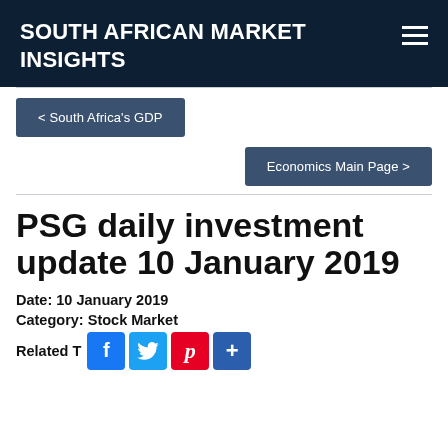SOUTH AFRICAN MARKET INSIGHTS
< South Africa's GDP
Economics Main Page >
PSG daily investment update 10 January 2019
Date: 10 January 2019
Category: Stock Market
Related Tags: